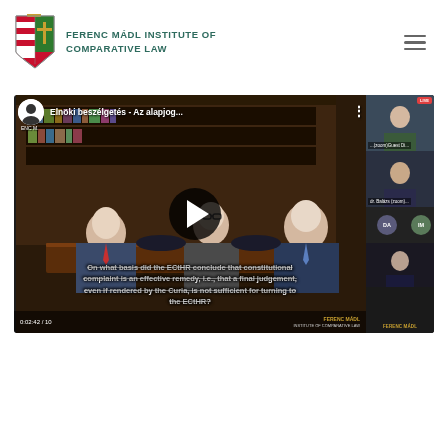[Figure (logo): Ferenc Mádl Institute of Comparative Law logo with Hungarian coat of arms]
FERENC MÁDL INSTITUTE OF COMPARATIVE LAW
[Figure (screenshot): YouTube video thumbnail showing 'Elnöki beszélgetés - Az alapjog...' with several men seated at a conference table, a play button overlay, and subtitles: 'On what basis did the ECtHR conclude that constitutional complaint is an effective remedy, i.e., that a final judgement, even if rendered by the Curia, is not sufficient for turning to the ECtHR?']